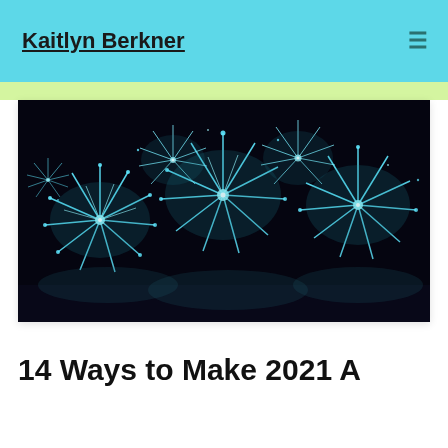Kaitlyn Berkner
[Figure (photo): Fireworks photo showing cyan/blue fireworks bursting against a dark night sky]
14 Ways to Make 2021 A